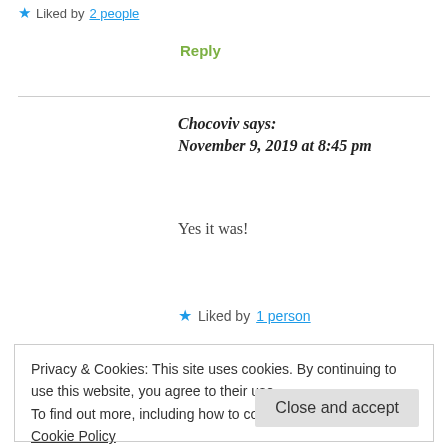Liked by 2 people
Reply
Chocoviv says: November 9, 2019 at 8:45 pm
Yes it was!
Liked by 1 person
Privacy & Cookies: This site uses cookies. By continuing to use this website, you agree to their use. To find out more, including how to control cookies, see here: Cookie Policy
Close and accept